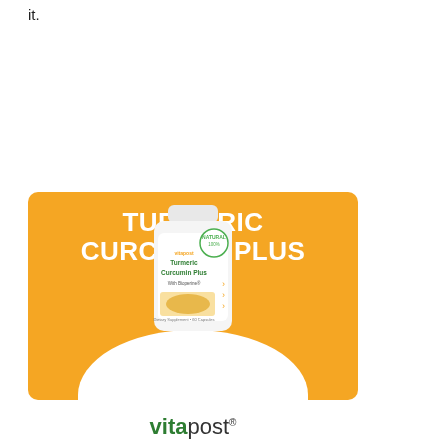it.
[Figure (illustration): Turmeric Curcumin Plus product advertisement showing an orange/yellow banner with white text reading TURMERIC CURCUMIN PLUS, a white supplement bottle with the product label, and the vitapost logo below]
vitapost®